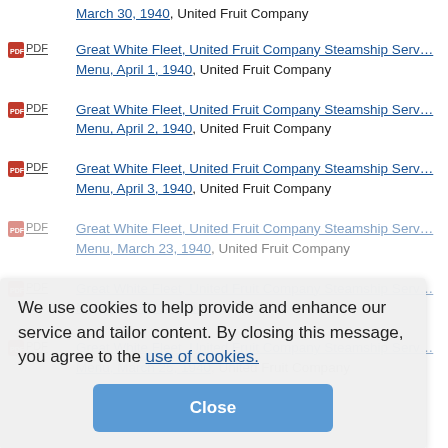March 30, 1940, United Fruit Company
PDF Great White Fleet, United Fruit Company Steamship Service Menu, April 1, 1940, United Fruit Company
PDF Great White Fleet, United Fruit Company Steamship Service Menu, April 2, 1940, United Fruit Company
PDF Great White Fleet, United Fruit Company Steamship Service Menu, April 3, 1940, United Fruit Company
PDF Great White Fleet, United Fruit Company Steamship Service Menu, March 23, 1940, United Fruit Company
PDF Great White Fleet, United Fruit Company Steamship Service Menu, March 24, 1940, United Fruit Company
PDF Great White Fleet, United Fruit Company Steamship Service Menu, March 25, 1940, United Fruit Company
We use cookies to help provide and enhance our service and tailor content. By closing this message, you agree to the use of cookies.